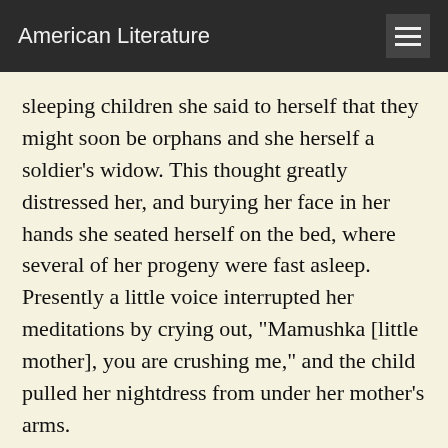American Literature
sleeping children she said to herself that they might soon be orphans and she herself a soldier's widow. This thought greatly distressed her, and burying her face in her hands she seated herself on the bed, where several of her progeny were fast asleep. Presently a little voice interrupted her meditations by crying out, "Mamushka [little mother], you are crushing me," and the child pulled her nightdress from under her mother's arms.
Akulina, with her head still resting on her hands, said: "Perhaps it would be better if we all should die. I only seem to have brought you into the world to suffer sorrow and misery."